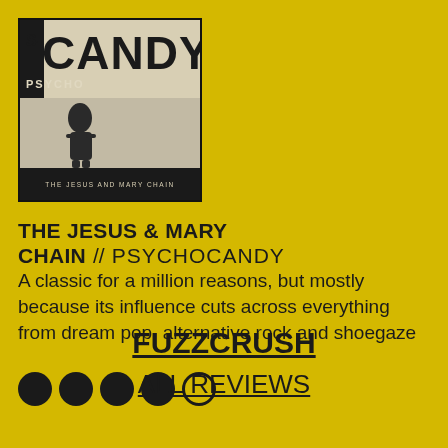[Figure (illustration): Album cover for Psychocandy by The Jesus and Mary Chain. Dark background with bold 'CANDY' text, 'PSYCHO' label, shadowed text, a figure silhouette, and band name at bottom.]
THE JESUS & MARY CHAIN // PSYCHOCANDY
A classic for a million reasons, but mostly because its influence cuts across everything from dream pop, alternative rock and shoegaze
[Figure (infographic): Rating: 4.5 out of 5 circles filled (4 solid dark circles, 1 empty circle outline)]
FUZZCRUSH
ALL REVIEWS